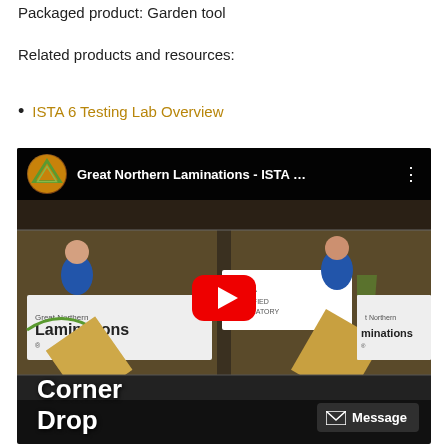Packaged product: Garden tool
Related products and resources:
ISTA 6 Testing Lab Overview
[Figure (screenshot): YouTube video thumbnail showing 'Great Northern Laminations - ISTA ...' with two workers performing a corner drop test on cardboard boxes with ISTA Certified Laboratory banner visible. Red YouTube play button in center. Text 'Corner Drop' shown at bottom left. Message button at bottom right.]